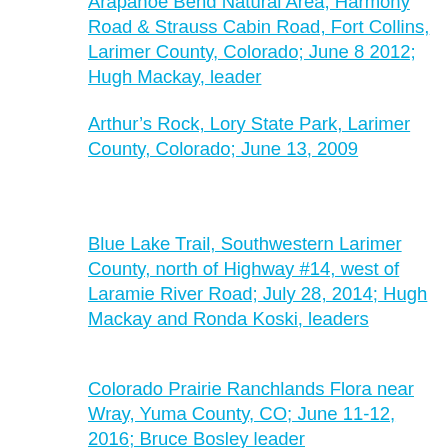Arapahoe Bend Natural Area, Harmony Road & Strauss Cabin Road, Fort Collins, Larimer County, Colorado; June 8 2012; Hugh Mackay, leader
Arthur's Rock, Lory State Park, Larimer County, Colorado; June 13, 2009
Blue Lake Trail, Southwestern Larimer County, north of Highway #14, west of Laramie River Road; July 28, 2014; Hugh Mackay and Ronda Koski, leaders
Colorado Prairie Ranchlands Flora near Wray, Yuma County, CO; June 11-12, 2016; Bruce Bosley leader